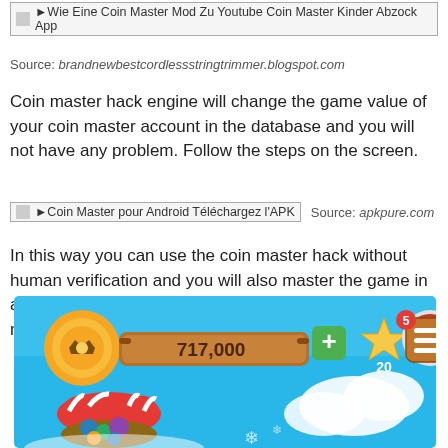[Figure (screenshot): Broken image placeholder with text: Wie Eine Coin Master Mod Zu Youtube Coin Master Kinder Abzock App]
Source: brandnewbestcordlessstringtrimmer.blogspot.com
Coin master hack engine will change the game value of your coin master account in the database and you will not have any problem. Follow the steps on the screen.
[Figure (screenshot): Broken image placeholder: Coin Master pour Android Téléchargez l'APK — Source: apkpure.com]
In this way you can use the coin master hack without human verification and you will also master the game in a simple. If you think you could just easily download modified.
[Figure (screenshot): Coin Master game screenshot showing 717,000 coins, 20 stars, spin icon, and a market stall with gems on a blue sky background]